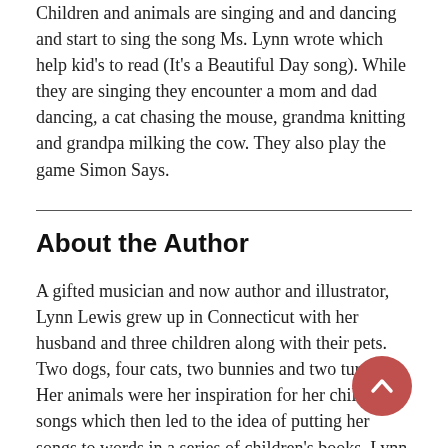Children and animals are singing and and dancing and start to sing the song Ms. Lynn wrote which help kid's to read (It's a Beautiful Day song). While they are singing they encounter a mom and dad dancing, a cat chasing the mouse, grandma knitting and grandpa milking the cow. They also play the game Simon Says.
About the Author
A gifted musician and now author and illustrator, Lynn Lewis grew up in Connecticut with her husband and three children along with their pets. Two dogs, four cats, two bunnies and two turtles. Her animals were her inspiration for her children's songs which then led to the idea of putting her songs to words in a series of children's books. Lynn continues to create more music and products that help children enjoy dancing, singing